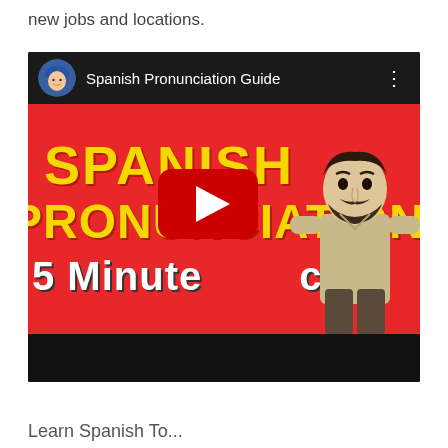new jobs and locations.
[Figure (screenshot): YouTube video thumbnail for 'Spanish Pronunciation Guide' showing a 5 Minute Guide with animated character and bold yellow/white text on red background, with YouTube play button overlay.]
Learn Spanish To...